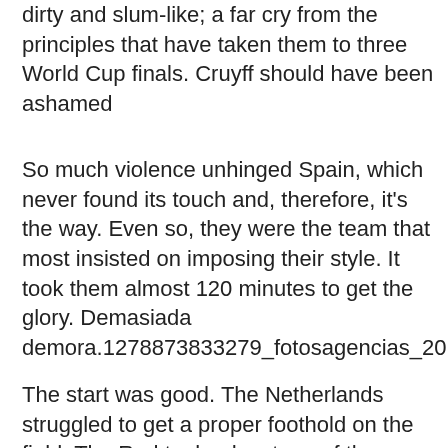dirty and slum-like; a far cry from the principles that have taken them to three World Cup finals. Cruyff should have been ashamed
So much violence unhinged Spain, which never found its touch and, therefore, it's the way. Even so, they were the team that most insisted on imposing their style. It took them almost 120 minutes to get the glory. Demasiada demora.1278873833279_fotosagencias_20100711_203
The start was good. The Netherlands struggled to get a proper foothold on the field. The Red took advantage of the quarter of an hour to shoot two or three defeats that could have been a goal. That had traces of resembling the match against Germany. In other words, something overwhelming and not too difficult.